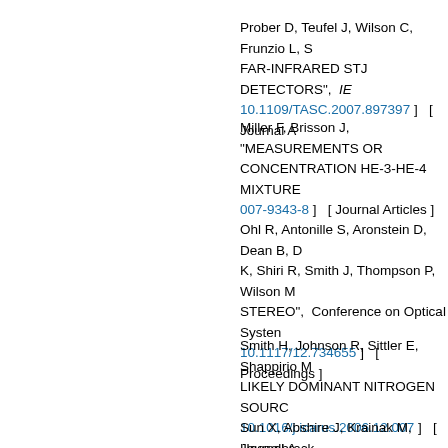Prober D, Teufel J, Wilson C, Frunzio L, S… FAR-INFRARED STJ DETECTORS", IEE… 10.1109/TASC.2007.897397 ]   [ Journal A…
Miller F, Brisson J, "MEASUREMENTS OR CONCENTRATION HE-3-HE-4 MIXTURE… 007-9343-8 ]   [ Journal Articles ]
Ohl R, Antonille S, Aronstein D, Dean B, D… K, Shiri R, Smith J, Thompson P, Wilson M… STEREO",  Conference on Optical Systen… 10.1117/12.734655 ]   [ Proceedings ]
Smith H, Johnson R, Sittler E, Shappirio M… LIKELY DOMINANT NITROGEN SOURC… 10.1016/j.icarus.2006.12.007 ]   [ Journal A…
Sun X, Abshire J, Krainak M, Hasselbrack… ART. NO. 677100",  Conference on Adva… 10.1117/12.735453 ]   [ Proceedings ]
Abbott B, Abbott R, Adhikari R, Agresti J, A… M, Aston S, Aufmuth P, Aulbert C, Babak S…